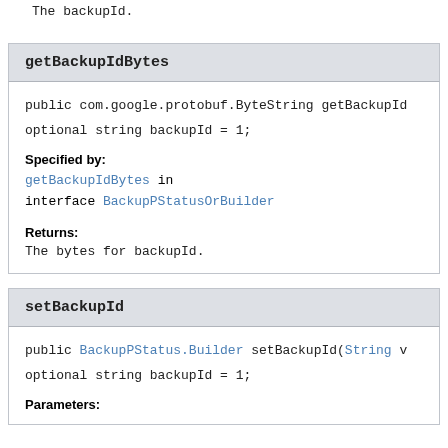The backupId.
getBackupIdBytes
public com.google.protobuf.ByteString getBackupId
optional string backupId = 1;
Specified by:
getBackupIdBytes in interface BackupPStatusOrBuilder
Returns:
The bytes for backupId.
setBackupId
public BackupPStatus.Builder setBackupId(String v
optional string backupId = 1;
Parameters: